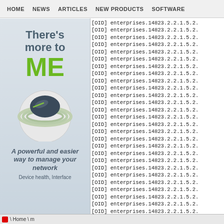HOME   NEWS   ARTICLES   NEW PRODUCTS   SOFTWARE
[Figure (illustration): Advertisement image with text 'There's more to ME' in bold gray/green, a globe/network device icon, tagline 'A powerful and easier way to manage your network', sub-text 'Device health, Interface']
[OID] enterprises.14823.2.2.1.5.2.
[OID] enterprises.14823.2.2.1.5.2.
[OID] enterprises.14823.2.2.1.5.2.
[OID] enterprises.14823.2.2.1.5.2.
[OID] enterprises.14823.2.2.1.5.2.
[OID] enterprises.14823.2.2.1.5.2.
[OID] enterprises.14823.2.2.1.5.2.
[OID] enterprises.14823.2.2.1.5.2.
[OID] enterprises.14823.2.2.1.5.2.
[OID] enterprises.14823.2.2.1.5.2.
[OID] enterprises.14823.2.2.1.5.2.
[OID] enterprises.14823.2.2.1.5.2.
[OID] enterprises.14823.2.2.1.5.2.
[OID] enterprises.14823.2.2.1.5.2.
[OID] enterprises.14823.2.2.1.5.2.
[OID] enterprises.14823.2.2.1.5.2.
[OID] enterprises.14823.2.2.1.5.2.
[OID] enterprises.14823.2.2.1.5.2.
[OID] enterprises.14823.2.2.1.5.2.
[OID] enterprises.14823.2.2.1.5.2.
[OID] enterprises.14823.2.2.1.5.2.
[OID] enterprises.14823.2.2.1.5.2.
[OID] enterprises.14823.2.2.1.5.2.
[OID] enterprises.14823.2.2.1.5.2.
[OID] enterprises.14823.2.2.1.5.2.
[OID] enterprises.14823.2.2.1.5.2.
Home \ m